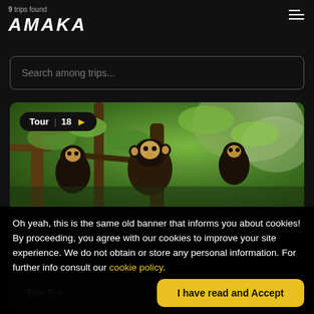9 trips found
AMAKA
Search among trips...
[Figure (photo): Photo of capuchin monkeys sitting in trees in a green jungle environment. A badge overlay reads: Tour | 18 ▶]
NATURAL BOND
Panama and Costa Rica between cities,
Oh yeah, this is the same old banner that informs you about cookies! By proceeding, you agree with our cookies to improve your site experience. We do not obtain or store any personal information. For further info consult our cookie policy.
Tour 9 ▶
I have read and Accept